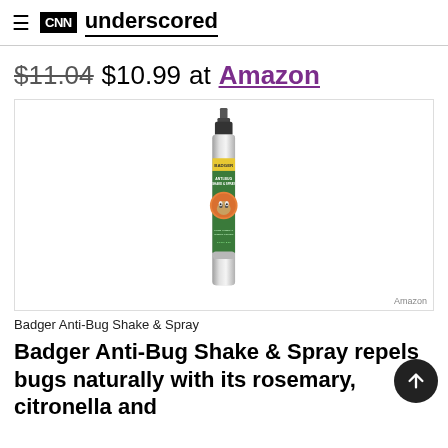CNN underscored
$11.04 $10.99 at Amazon
[Figure (photo): Badger Anti-Bug Shake & Spray bottle — a tall slim aluminum spray bottle with black pump top, green label with orange circular badger illustration and yellow band at top reading BADGER ANTI-BUG SHAKE & SPRAY]
Amazon
Badger Anti-Bug Shake & Spray
Badger Anti-Bug Shake & Spray repels bugs naturally with its rosemary, citronella and